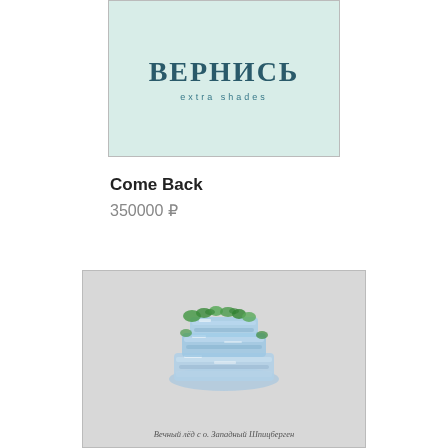[Figure (illustration): Book or album cover with Cyrillic text ВЕРНИСЬ in teal serif font and subtitle 'extra shades' on a light greenish background with border]
Come Back
350000 ₽
[Figure (illustration): Light grey book/album cover featuring a watercolor illustration of a glacial ice formation with blue and white ice and green vegetation on top, captioned 'Вечный лёд с о. Западный Шпицберген']
Вечный лёд с о. Западный Шпицберген